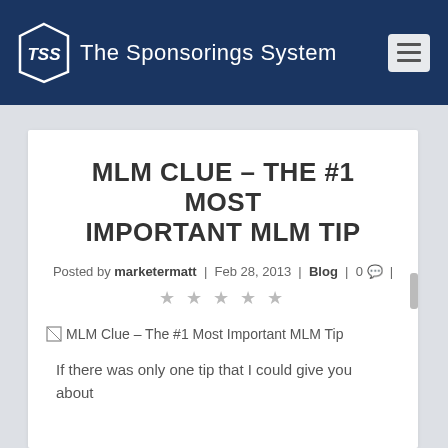The Sponsorings System
MLM CLUE – THE #1 MOST IMPORTANT MLM TIP
Posted by marketermatt | Feb 28, 2013 | Blog | 0 |
[Figure (photo): Broken image placeholder with alt text: MLM Clue – The #1 Most Important MLM Tip]
If there was only one tip that I could give you about